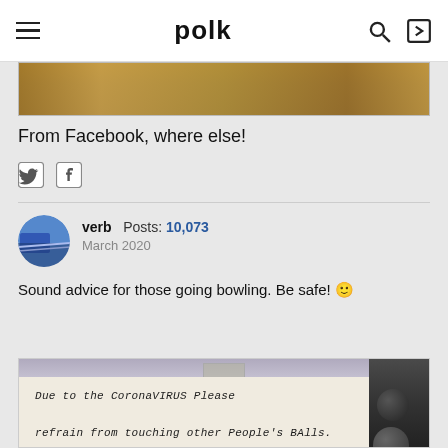polk
[Figure (photo): Cropped photo showing a brown wooden surface with handwritten text, partially visible at top of page]
From Facebook, where else!
[Figure (infographic): Social share icons: Twitter (bird) and Facebook (f)]
verb  Posts: 10,073
March 2020
Sound advice for those going bowling. Be safe! 🙂
[Figure (photo): Photo of a handwritten sign reading: Due to the CoronaVIRUS Please refrain from touching other People's BAlls. Please remember to wash your hands after]